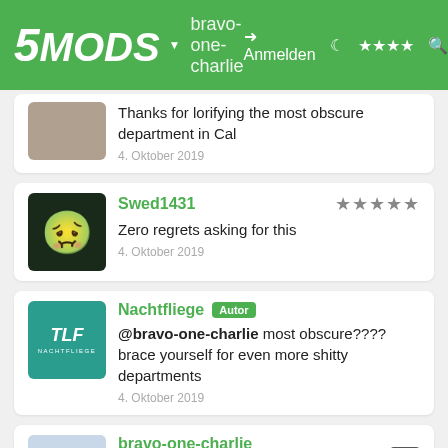5MODS - bravo-one-charlie - Anmelden
Thanks for lorifying the most obscure department in Cal
4. Oktober 2019
Swed1431 - Zero regrets asking for this
4. Oktober 2019
Nachtfliege [Autor] - @bravo-one-charlie most obscure???? brace yourself for even more shitty departments
4. Oktober 2019
bravo-one-charlie - Yes pls
4. Oktober 2019
Swed1431 (partial)